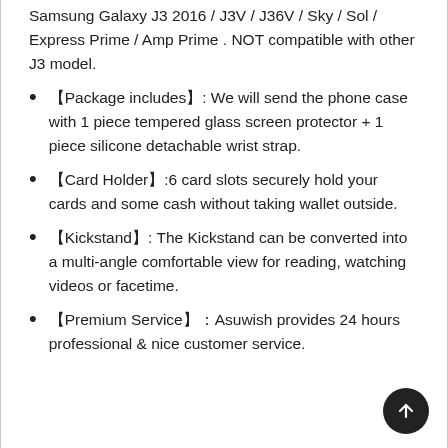Samsung Galaxy J3 2016 / J3V / J36V / Sky / Sol / Express Prime / Amp Prime . NOT compatible with other J3 model.
【Package includes】: We will send the phone case with 1 piece tempered glass screen protector + 1 piece silicone detachable wrist strap.
【Card Holder】:6 card slots securely hold your cards and some cash without taking wallet outside.
【Kickstand】: The Kickstand can be converted into a multi-angle comfortable view for reading, watching videos or facetime.
【Premium Service】：Asuwish provides 24 hours professional & nice customer service.